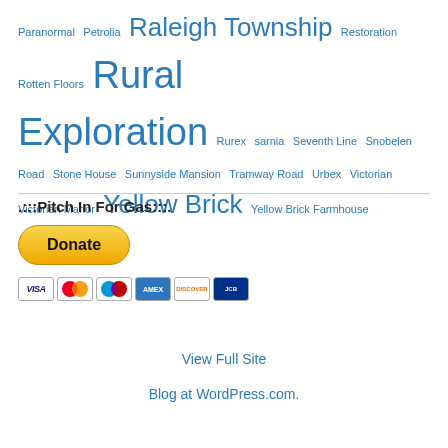Paranormal Petrolia Raleigh Township Restoration Rotten Floors Rural Exploration Rurex sarnia Seventh Line Snobelen Road Stone House Sunnyside Mansion Tramway Road Urbex Victorian Victorian Manor Yellow Brick Yellow Brick Farmhouse
.:::Pitch In For Gas:::.
[Figure (other): PayPal Donate button with accepted payment card icons: Visa, Mastercard, Maestro, American Express, Discover, JCB]
View Full Site
Blog at WordPress.com.